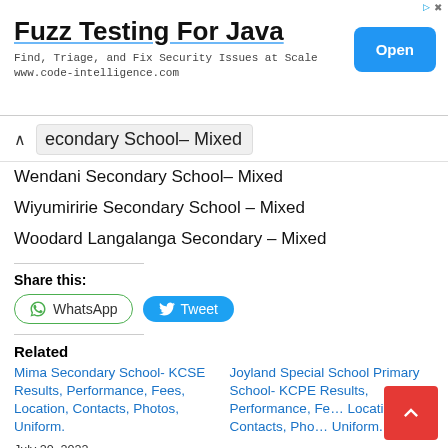[Figure (other): Advertisement banner for 'Fuzz Testing For Java' by code-intelligence.com with an Open button]
econdary School– Mixed
Wendani Secondary School– Mixed
Wiyumiririe Secondary School – Mixed
Woodard Langalanga Secondary – Mixed
Share this:
WhatsApp   Tweet
Related
Mima Secondary School- KCSE Results, Performance, Fees, Location, Contacts, Photos, Uniform.
July 20, 2022
Joyland Special School Primary School- KCPE Results, Performance, Fees, Location, Contacts, Photos, Uniform.